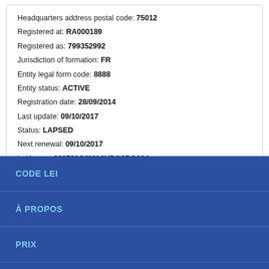Headquarters address postal code: 75012
Registered at: RA000189
Registered as: 799352992
Jurisdiction of formation: FR
Entity legal form code: 8888
Entity status: ACTIVE
Registration date: 28/09/2014
Last update: 09/10/2017
Status: LAPSED
Next renewal: 09/10/2017
Lei issuer: 969500Q2MA9VBQ8BG884
Corroboration level: FULLY_CORROBORATED
Data validated at (id): RA000189
Data validated as: 799352992
CODE LEI
À PROPOS
PRIX